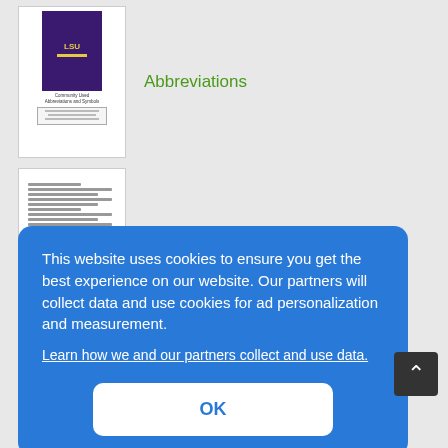[Figure (screenshot): Thumbnail of a book cover for 'Commonly Used Abbreviations and Symbols' with LSU branding, dark purple cover, with a table preview below it]
Abbreviations
[Figure (screenshot): Thumbnail of a document page with multiple lines of text, appearing to be a list of abbreviations]
Abbreviations
This website uses cookies to ensure you get the best experience on our website. Our partners will collect data and use cookies for ad personalization and measurement.
Learn how we and our partners collect and use data.
OK